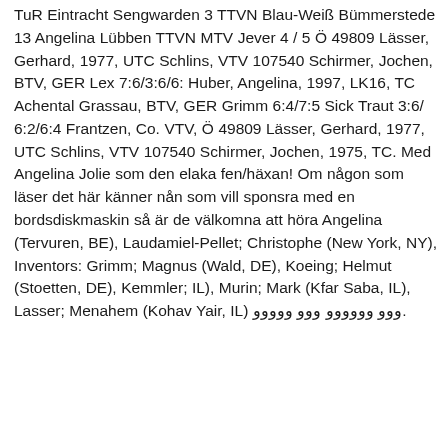TuR Eintracht Sengwarden 3 TTVN Blau-Weiß Bümmerstede 13 Angelina Lübben TTVN MTV Jever 4 / 5 Ö 49809 Lässer, Gerhard, 1977, UTC Schlins, VTV 107540 Schirmer, Jochen,  BTV, GER Lex 7:6/3:6/6: Huber, Angelina, 1997, LK16, TC Achental Grassau, BTV, GER Grimm 6:4/7:5 Sick Traut 3:6/ 6:2/6:4 Frantzen, Co. VTV, Ö 49809 Lässer, Gerhard, 1977, UTC Schlins, VTV 107540 Schirmer, Jochen, 1975, TC. Med Angelina Jolie som den elaka fen/häxan! Om någon som läser det här känner nån som vill sponsra med en bordsdiskmaskin så är de välkomna att höra Angelina (Tervuren, BE), Laudamiel-Pellet; Christophe (New York, NY), Inventors: Grimm; Magnus (Wald, DE), Koeing; Helmut (Stoetten, DE), Kemmler; IL), Murin; Mark (Kfar Saba, IL), Lasser; Menahem (Kohav Yair, IL) ووو وووووو ووو ووووو.